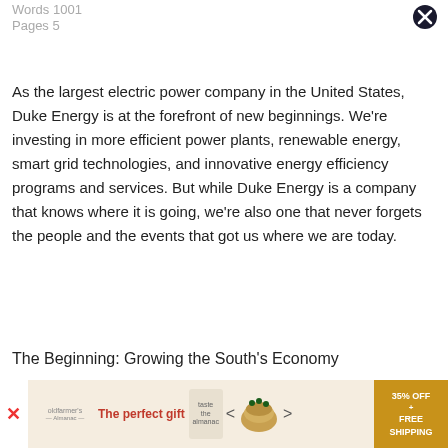Words 1001
Pages 5
As the largest electric power company in the United States, Duke Energy is at the forefront of new beginnings. We're investing in more efficient power plants, renewable energy, smart grid technologies, and innovative energy efficiency programs and services. But while Duke Energy is a company that knows where it is going, we're also one that never forgets the people and the events that got us where we are today.
The Beginning: Growing the South's Economy
[Figure (other): Advertisement banner: The perfect gift with food product image, arrows for navigation, and a gold box offering 35% OFF + FREE SHIPPING]